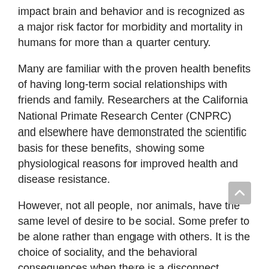impact brain and behavior and is recognized as a major risk factor for morbidity and mortality in humans for more than a quarter century.
Many are familiar with the proven health benefits of having long-term social relationships with friends and family. Researchers at the California National Primate Research Center (CNPRC) and elsewhere have demonstrated the scientific basis for these benefits, showing some physiological reasons for improved health and disease resistance.
However, not all people, nor animals, have the same level of desire to be social. Some prefer to be alone rather than engage with others. It is the choice of sociality, and the behavioral consequences when there is a disconnect between the desire to be social and the reality of social interaction, that was the focus of a research study by John Capitanio, Ph.D., Core Scientist in the Brain, Mind, and Behavior Unit at the CNPRC.
There is no fundamental reason that this perception of social disconnection, or loneliness, might be specific to humans. Place non-human primates in a social habitat...